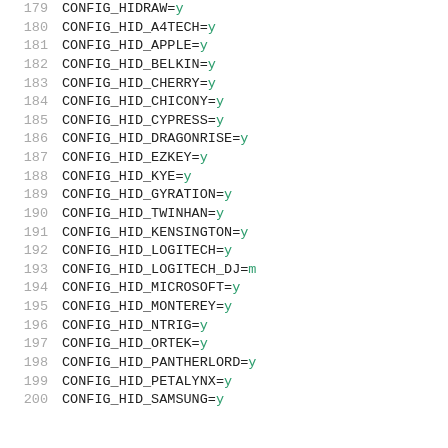179  CONFIG_HIDRAW=y
180  CONFIG_HID_A4TECH=y
181  CONFIG_HID_APPLE=y
182  CONFIG_HID_BELKIN=y
183  CONFIG_HID_CHERRY=y
184  CONFIG_HID_CHICONY=y
185  CONFIG_HID_CYPRESS=y
186  CONFIG_HID_DRAGONRISE=y
187  CONFIG_HID_EZKEY=y
188  CONFIG_HID_KYE=y
189  CONFIG_HID_GYRATION=y
190  CONFIG_HID_TWINHAN=y
191  CONFIG_HID_KENSINGTON=y
192  CONFIG_HID_LOGITECH=y
193  CONFIG_HID_LOGITECH_DJ=m
194  CONFIG_HID_MICROSOFT=y
195  CONFIG_HID_MONTEREY=y
196  CONFIG_HID_NTRIG=y
197  CONFIG_HID_ORTEK=y
198  CONFIG_HID_PANTHERLORD=y
199  CONFIG_HID_PETALYNX=y
200  CONFIG_HID_SAMSUNG=y